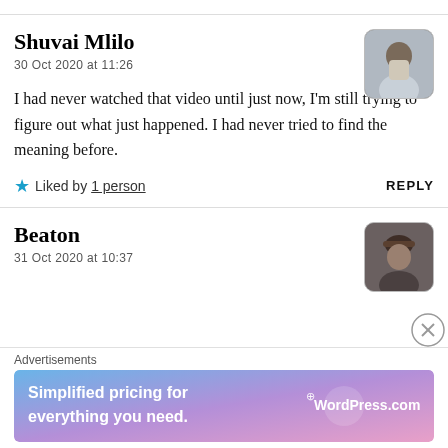Shuvai Mlilo
30 Oct 2020 at 11:26
I had never watched that video until just now, I'm still trying to figure out what just happened. I had never tried to find the meaning before.
Liked by 1 person
REPLY
Beaton
31 Oct 2020 at 10:37
Advertisements
[Figure (infographic): WordPress.com advertisement banner: 'Simplified pricing for everything you need.' with WordPress.com logo on gradient background (blue to pink).]